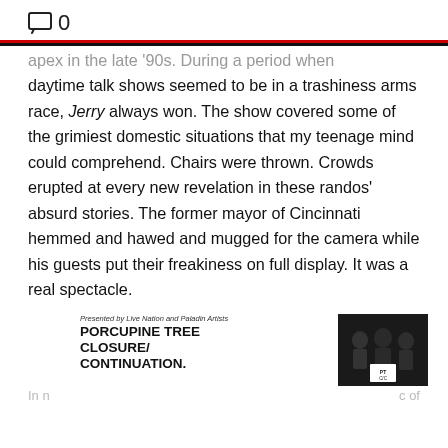□ 0
apex in the late '90s. During a period when daytime talk shows seemed to be in a trashiness arms race, Jerry always won. The show covered some of the grimiest domestic situations that my teenage mind could comprehend. Chairs were thrown. Crowds erupted at every new revelation in these randos' absurd stories. The former mayor of Cincinnati hemmed and hawed and mugged for the camera while his guests put their freakiness on full display. It was a real spectacle.
[Figure (photo): Three people (band members) in a dark photo, with PT C/C logo overlay]
Presented by Live Nation and Paladin Artists
PORCUPINE TREE CLOSURE/CONTINUATION.
In n    c of